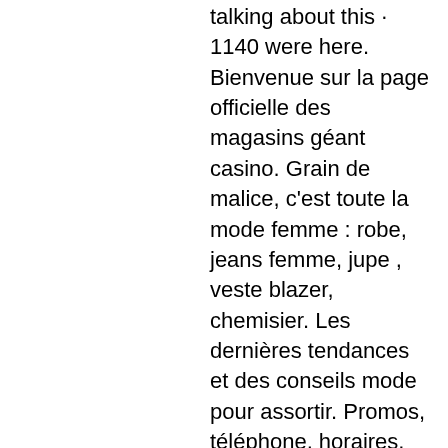talking about this · 1140 were here. Bienvenue sur la page officielle des magasins géant casino. Grain de malice, c'est toute la mode femme : robe, jeans femme, jupe , veste blazer, chemisier. Les dernières tendances et des conseils mode pour assortir. Promos, téléphone, horaires, ouvertures exceptionnelles et prospectus en cours à géant casino epinal. Horaires d'ouverture supermarché casino epinal. Drive - créneaux disponibles Votre magasin géant casino est fermé le dimanche. Ces horaires d'ouverture ne tiennent pas compte des jours fériés. Pour savoir si le géant casino epinal est. 30 rue de remiremont, 88000 épinal. Heures d'ouverture aujourd'hui pour géant casino. Découvrez les meilleurs magasins ouverts le dimanche à épinal. Napoli antic · animalerie botanic · monoprix epinal · géant casino · intermarché epinal · botanic. Horaires